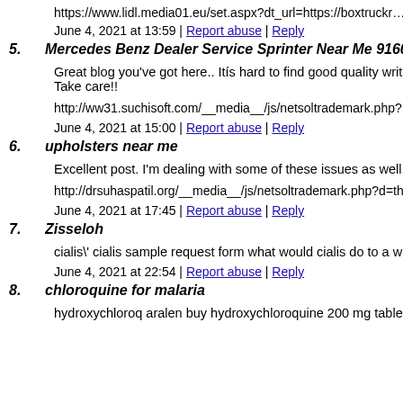https://www.lidl.media01.eu/set.aspx?dt_url=https://boxtruckr…
June 4, 2021 at 13:59 | Report abuse | Reply
5. Mercedes Benz Dealer Service Sprinter Near Me 91605
Great blog you've got here.. Itís hard to find good quality writi… Take care!!
http://ww31.suchisoft.com/__media__/js/netsoltrademark.php?…
June 4, 2021 at 15:00 | Report abuse | Reply
6. upholsters near me
Excellent post. I'm dealing with some of these issues as well..
http://drsuhaspatil.org/__media__/js/netsoltrademark.php?d=th…
June 4, 2021 at 17:45 | Report abuse | Reply
7. Zisseloh
cialis\' cialis sample request form what would cialis do to a wo…
June 4, 2021 at 22:54 | Report abuse | Reply
8. chloroquine for malaria
hydroxychloroq aralen buy hydroxychloroquine 200 mg tablet…